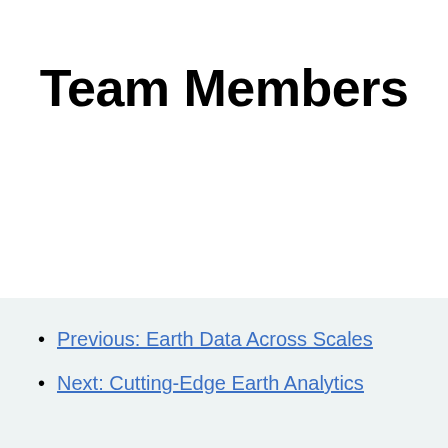Team Members
Previous: Earth Data Across Scales
Next: Cutting-Edge Earth Analytics